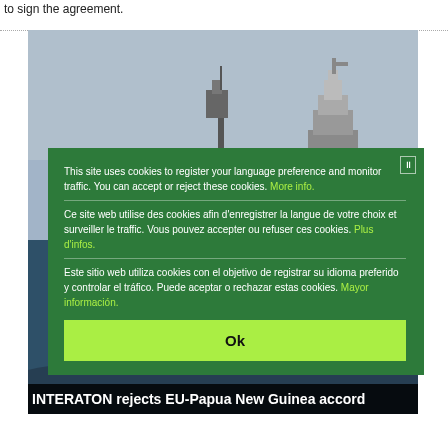to sign the agreement.
[Figure (photo): A fishing or industrial vessel at sea with masts and equipment visible against a grey-blue sky. Dark blue ocean water visible at lower left.]
This site uses cookies to register your language preference and monitor traffic. You can accept or reject these cookies. More info.
Ce site web utilise des cookies afin d'enregistrer la langue de votre choix et surveiller le traffic. Vous pouvez accepter ou refuser ces cookies. Plus d'infos.
Este sitio web utiliza cookies con el objetivo de registrar su idioma preferido y controlar el tráfico. Puede aceptar o rechazar estas cookies. Mayor información.
Ok
INTERATON rejects EU-Papua New Guinea accord